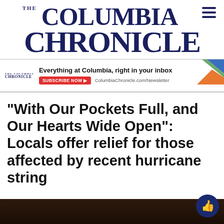THE COLUMBIA CHRONICLE
[Figure (screenshot): Newsletter subscription ad banner with Columbia Chronicle logo, text 'Everything at Columbia, right in your inbox', red SUBSCRIBE NOW button, ColumbiaChronicle.com/Newsletter URL, and a geometric arrow graphic in blue, green, and orange on the right.]
“With Our Pockets Full, and Our Hearts Wide Open”: Locals offer relief for those affected by recent hurricane string
[Figure (photo): Dark background photo strip, partially visible at bottom of page, appears to show a dimly lit interior scene.]